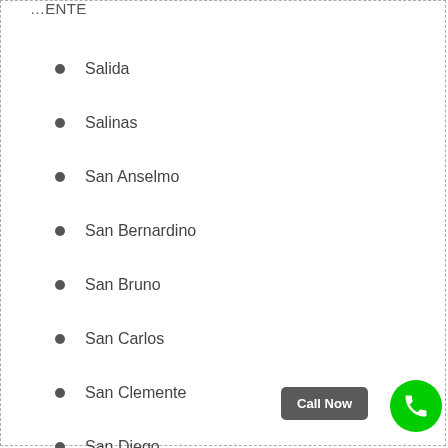…ENTE
Salida
Salinas
San Anselmo
San Bernardino
San Bruno
San Carlos
San Clemente
San Diego
San Dimas
Call Now